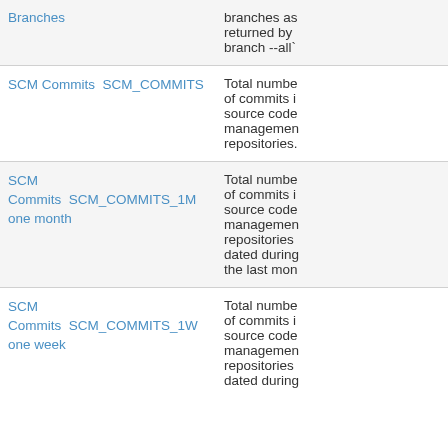| Name / Code | Description |
| --- | --- |
| Branches | branches as returned by branch --all` |
| SCM Commits   SCM_COMMITS | Total number of commits in source code management repositories. |
| SCM Commits one month   SCM_COMMITS_1M | Total number of commits in source code management repositories dated during the last mon... |
| SCM Commits one week   SCM_COMMITS_1W | Total number of commits in source code management repositories dated during the... |